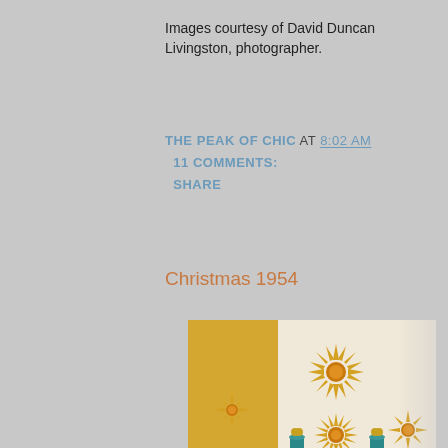Images courtesy of David Duncan Livingston, photographer.
THE PEAK OF CHIC AT 8:02 AM
11 COMMENTS:
SHARE
Christmas 1954
[Figure (photo): Interior room scene from 1954 showing decorative gold sunburst ornaments on a cream and yellow wall above a wooden cabinet/dresser with teal decorative urns. A blue sofa is visible at bottom left. The photo has a warm vintage color palette.]